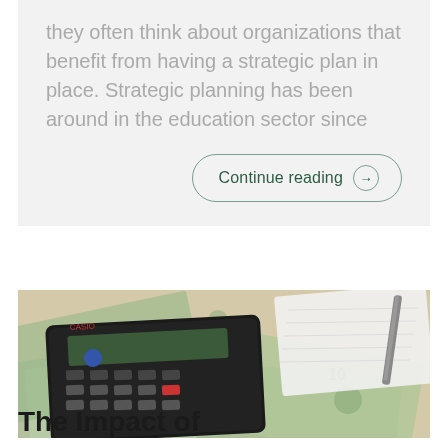they often think about organizations that benefit from having a strategic plan in place. Strategic planning has been around in the education sector since
Continue reading →
[Figure (photo): A Casio scientific calculator resting on top of US dollar bills, with a notebook and pen visible in the upper right corner]
The Impact of